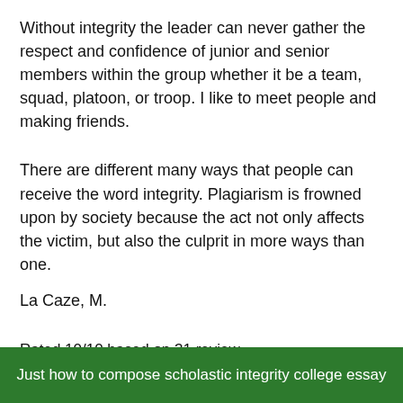Without integrity the leader can never gather the respect and confidence of junior and senior members within the group whether it be a team, squad, platoon, or troop. I like to meet people and making friends.
There are different many ways that people can receive the word integrity. Plagiarism is frowned upon by society because the act not only affects the victim, but also the culprit in more ways than one.
La Caze, M.
Rated 10/10 based on 31 review
Download
Just how to compose scholastic integrity college essay